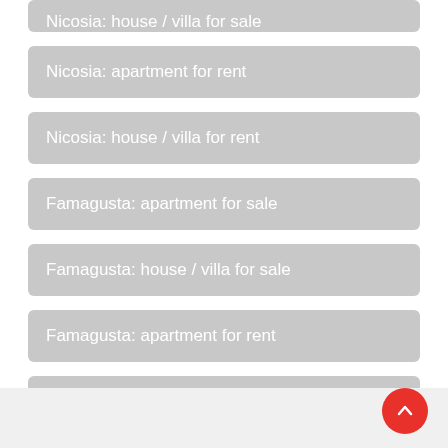Nicosia: house / villa for sale
Nicosia: apartment for rent
Nicosia: house / villa for rent
Famagusta: apartment for sale
Famagusta: house / villa for sale
Famagusta: apartment for rent
Famagusta: house / villa for rent